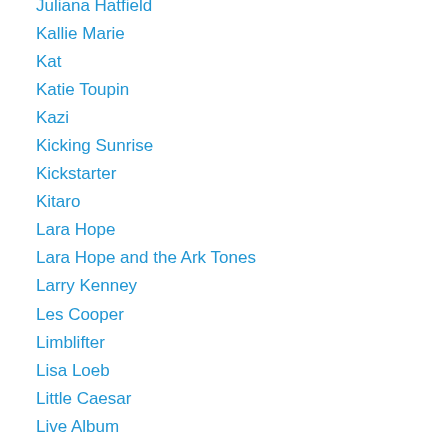Juliana Hatfield
Kallie Marie
Kat
Katie Toupin
Kazi
Kicking Sunrise
Kickstarter
Kitaro
Lara Hope
Lara Hope and the Ark Tones
Larry Kenney
Les Cooper
Limblifter
Lisa Loeb
Little Caesar
Live Album
Live Shows
Logan Kane
Long Island
Lord Of The Lost